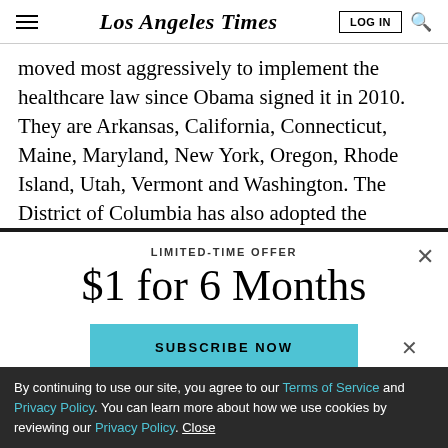Los Angeles Times | LOG IN
moved most aggressively to implement the healthcare law since Obama signed it in 2010. They are Arkansas, California, Connecticut, Maine, Maryland, New York, Oregon, Rhode Island, Utah, Vermont and Washington. The District of Columbia has also adopted the
LIMITED-TIME OFFER
$1 for 6 Months
SUBSCRIBE NOW
By continuing to use our site, you agree to our Terms of Service and Privacy Policy. You can learn more about how we use cookies by reviewing our Privacy Policy. Close